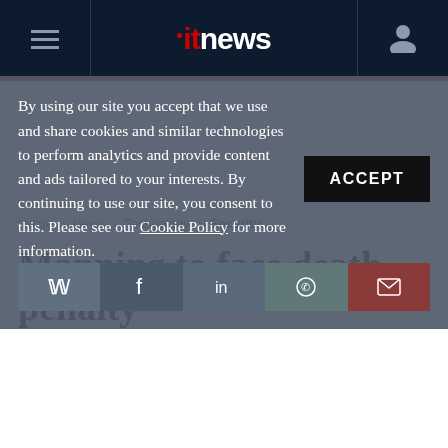itnews — site header with hamburger menu and user icon
[Figure (other): Advertisement banner area (white/blank)]
Home > News > Technology > Security
Manning to face death penalty
By using our site you accept that we use and share cookies and similar technologies to perform analytics and provide content and ads tailored to your interests. By continuing to use our site, you consent to this. Please see our Cookie Policy for more information.